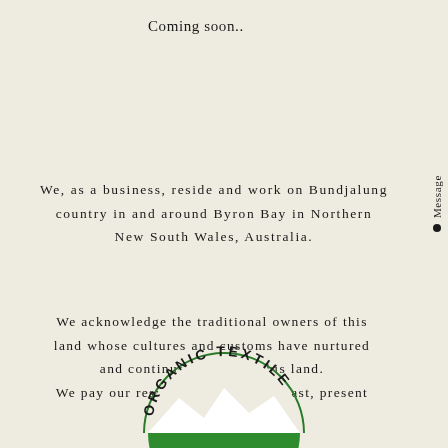Coming soon..
We, as a business, reside and work on Bundjalung country in and around Byron Bay in Northern New South Wales, Australia.
We acknowledge the traditional owners of this land whose cultures and customs have nurtured and continue to nurture this land. We pay our respects to the elders past, present and emerging.
[Figure (logo): ORGANIC TEXTILE certification logo — circular badge with green mountain/wave design and text arcing around top reading ORGANIC TEXTILE]